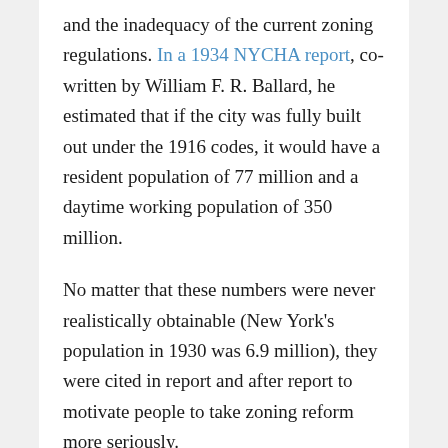and the inadequacy of the current zoning regulations. In a 1934 NYCHA report, co-written by William F. R. Ballard, he estimated that if the city was fully built out under the 1916 codes, it would have a resident population of 77 million and a daytime working population of 350 million.
No matter that these numbers were never realistically obtainable (New York's population in 1930 was 6.9 million), they were cited in report and after report to motivate people to take zoning reform more seriously.
The Joint Committee